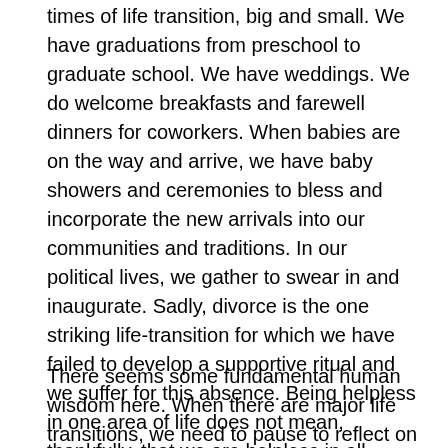times of life transition, big and small. We have graduations from preschool to graduate school. We have weddings. We do welcome breakfasts and farewell dinners for coworkers. When babies are on the way and arrive, we have baby showers and ceremonies to bless and incorporate the new arrivals into our communities and traditions. In our political lives, we gather to swear in and inaugurate. Sadly, divorce is the one striking life-transition for which we have failed to develop a supportive ritual and we suffer for this absence. Being helpless in one area of life does not mean, thankfully, that we are helpless in all areas. Much good has come in the world when people helpless to change the past have dedicated themselves to making a difference in the future for themselves and for others. Perhaps we can help someone else avoid what we experienced. Such actions do not change the facts of the past, but they can change the meaning of the past. And that is no small thing.
There seems some fundamental human wisdom here. When there are major life transitions, we need to pause to reflect on